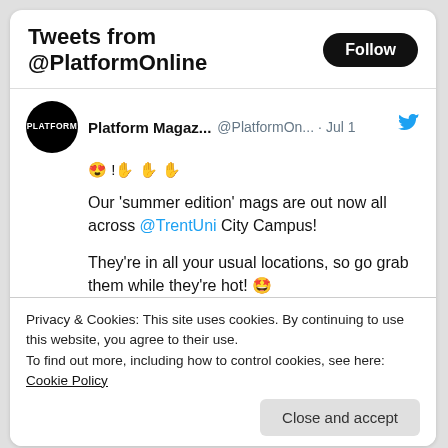Tweets from @PlatformOnline
[Figure (screenshot): Tweet from Platform Magazine (@PlatformOn...) on Jul 1 with Twitter bird icon. Shows Arabic text with heart-eyes emoji, then tweet body: 'Our 'summer edition' mags are out now all across @TrentUni City Campus! They're in all your usual locations, so go grab them while they're hot! 🤩 #platformmagazine #nottingham #notts #studentmagazine #studentmedia #ntsu']
Privacy & Cookies: This site uses cookies. By continuing to use this website, you agree to their use.
To find out more, including how to control cookies, see here: Cookie Policy
Close and accept